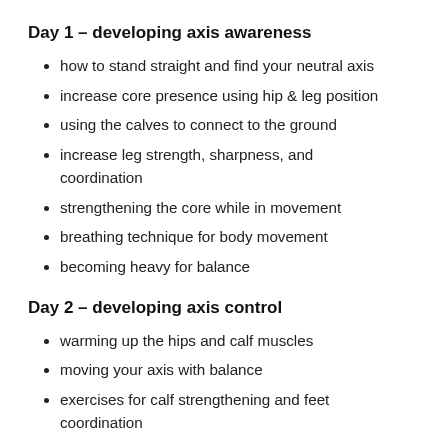Day 1 – developing axis awareness
how to stand straight and find your neutral axis
increase core presence using hip & leg position
using the calves to connect to the ground
increase leg strength, sharpness, and coordination
strengthening the core while in movement
breathing technique for body movement
becoming heavy for balance
Day 2 – developing axis control
warming up the hips and calf muscles
moving your axis with balance
exercises for calf strengthening and feet coordination